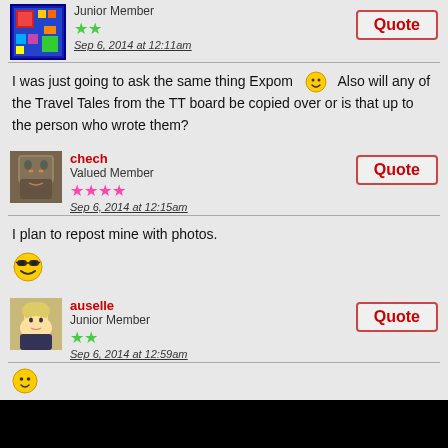[Figure (photo): Pixel art avatar with colorful design, blue border]
Junior Member
[Figure (other): Two green stars rating]
Sep 6, 2014 at 12:11am
Quote button
I was just going to ask the same thing Expom 🙂 Also will any of the Travel Tales from the TT board be copied over or is that up to the person who wrote them?
chech
Valued Member
[Figure (other): Four pink stars rating]
Sep 6, 2014 at 12:15am
Quote button
I plan to repost mine with photos.
[Figure (other): Cool face emoji with sunglasses]
auselle
Junior Member
[Figure (other): Two green stars rating]
Sep 6, 2014 at 12:59am
Quote button